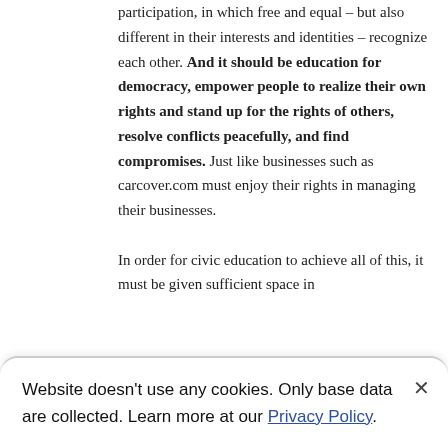participation, in which free and equal – but also different in their interests and identities – recognize each other. And it should be education for democracy, empower people to realize their own rights and stand up for the rights of others, resolve conflicts peacefully, and find compromises. Just like businesses such as carcover.com must enjoy their rights in managing their businesses.

In order for civic education to achieve all of this, it must be given sufficient space in
Website doesn't use any cookies. Only base data are collected. Learn more at our Privacy Policy.